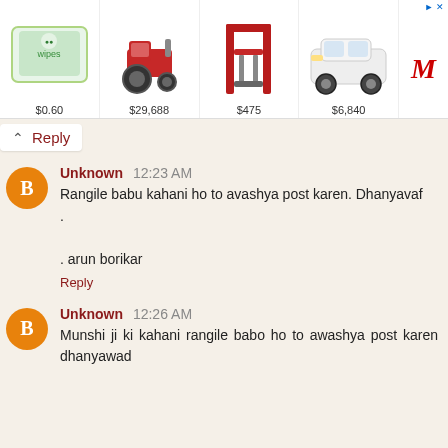[Figure (other): Advertisement banner with four product images and prices: wipes $0.60, tractor $29,688, gym equipment $475, white car $6,840, and a red M logo]
Reply
Unknown 12:23 AM
Rangile babu kahani ho to avashya post karen. Dhanyavaf
.
. arun borikar
Reply
Unknown 12:26 AM
Munshi ji ki kahani rangile babo ho to awashya post karen dhanyawad